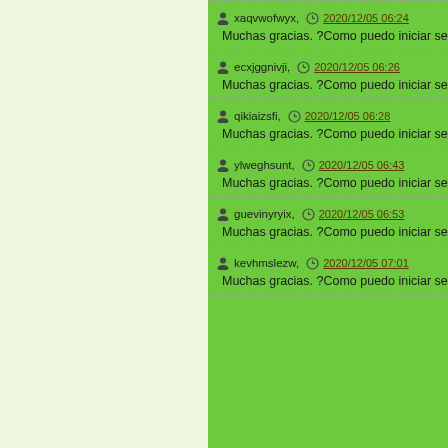xaqvwofwyx, 2020/12/05 06:24 — Muchas gracias. ?Como puedo iniciar sesio
ecxjggnivji, 2020/12/05 06:26 — Muchas gracias. ?Como puedo iniciar sesio
qikiaizsfi, 2020/12/05 06:28 — Muchas gracias. ?Como puedo iniciar sesio
ylweghsunt, 2020/12/05 06:43 — Muchas gracias. ?Como puedo iniciar sesio
guevinyryix, 2020/12/05 06:53 — Muchas gracias. ?Como puedo iniciar sesio
kevhmslezw, 2020/12/05 07:01 — Muchas gracias. ?Como puedo iniciar sesio